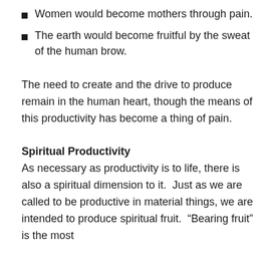Women would become mothers through pain.
The earth would become fruitful by the sweat of the human brow.
The need to create and the drive to produce remain in the human heart, though the means of this productivity has become a thing of pain.
Spiritual Productivity
As necessary as productivity is to life, there is also a spiritual dimension to it.  Just as we are called to be productive in material things, we are intended to produce spiritual fruit.  “Bearing fruit” is the most